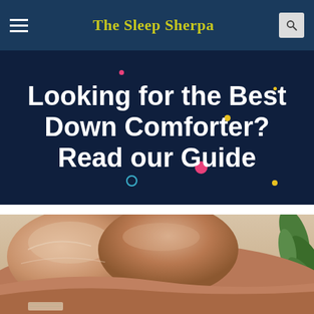The Sleep Sherpa
Looking for the Best Down Comforter? Read our Guide
[Figure (photo): A bed with golden/peach-colored satin pillows and a comforter, with a green plant visible in the background right.]